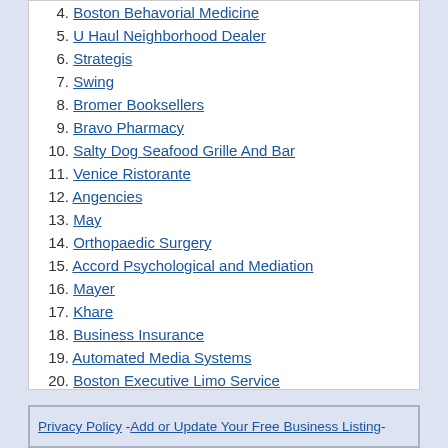4. Boston Behavorial Medicine
5. U Haul Neighborhood Dealer
6. Strategis
7. Swing
8. Bromer Booksellers
9. Bravo Pharmacy
10. Salty Dog Seafood Grille And Bar
11. Venice Ristorante
12. Angencies
13. May
14. Orthopaedic Surgery
15. Accord Psychological and Mediation
16. Mayer
17. Khare
18. Business Insurance
19. Automated Media Systems
20. Boston Executive Limo Service
Privacy Policy - Add or Update Your Free Business Listing -